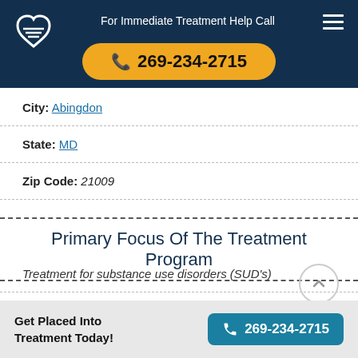For Immediate Treatment Help Call 269-234-2715
City: Abingdon
State: MD
Zip Code: 21009
Primary Focus Of The Treatment Program
Treatment for substance use disorders (SUD's)
Get Placed Into Treatment Today! 269-234-2715